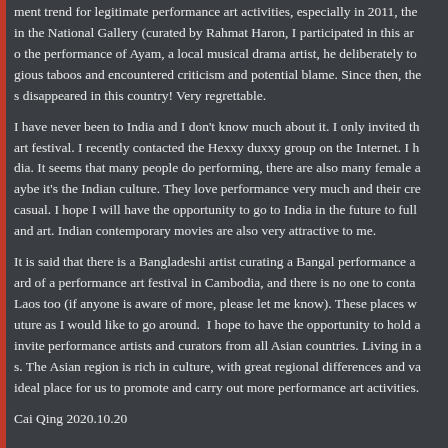ment trend for legitimate performance art activities, especially in 2011, the in the National Gallery (curated by Rahmat Haron, I participated in this ar o the performance of Ayam, a local musical drama artist, he deliberately to gious taboos and encountered criticism and potential blame. Since then, the s disappeared in this country! Very regrettable.
I have never been to India and I don't know much about it. I only invited th art festival. I recently contacted the Hexxy duxxy group on the Internet. I h dia. It seems that many people do performing, there are also many female a aybe it's the Indian culture. They love performance very much and their cre casual. I hope I will have the opportunity to go to India in the future to full and art. Indian contemporary movies are also very attractive to me.
It is said that there is a Bangladeshi artist curating a Bangal performance a ard of a performance art festival in Cambodia, and there is no one to conta Laos too (if anyone is aware of more, please let me know). These places w uture as I would like to go around. I hope to have the opportunity to hold a invite performance artists and curators from all Asian countries. Living in a s. The Asian region is rich in culture, with great regional differences and va ideal place for us to promote and carry out more performance art activities.
Cai Qing 2020.10.20